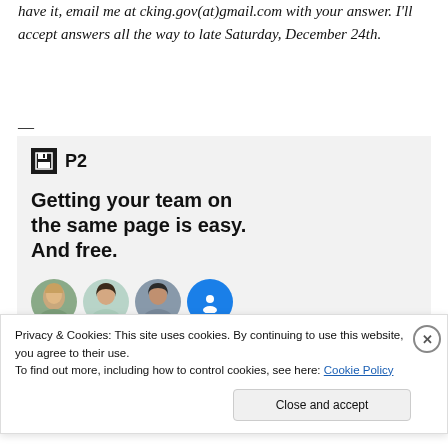have it, email me at cking.gov(at)gmail.com with your answer. I'll accept answers all the way to late Saturday, December 24th.
—
[Figure (illustration): P2 advertisement with floppy disk icon, tagline 'Getting your team on the same page is easy. And free.' with circular avatar photos]
Privacy & Cookies: This site uses cookies. By continuing to use this website, you agree to their use.
To find out more, including how to control cookies, see here: Cookie Policy